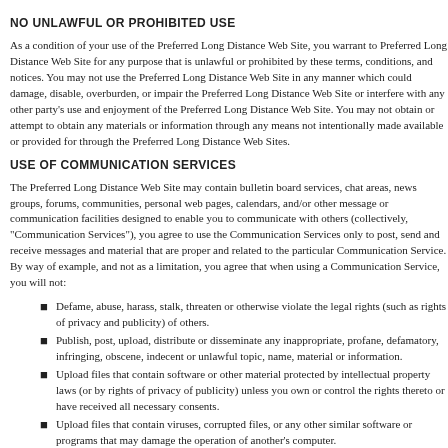NO UNLAWFUL OR PROHIBITED USE
As a condition of your use of the Preferred Long Distance Web Site, you warrant to Preferred Long Distance Web Site for any purpose that is unlawful or prohibited by these terms, conditions, and notices. You may not use the Preferred Long Distance Web Site in any manner which could damage, disable, overburden, or impair the Preferred Long Distance Web Site or interfere with any other party's use and enjoyment of the Preferred Long Distance Web Site. You may not obtain or attempt to obtain any materials or information through any means not intentionally made available or provided for through the Preferred Long Distance Web Sites.
USE OF COMMUNICATION SERVICES
The Preferred Long Distance Web Site may contain bulletin board services, chat areas, news groups, forums, communities, personal web pages, calendars, and/or other message or communication facilities designed to enable you to communicate with others (collectively, "Communication Services"), you agree to use the Communication Services only to post, send and receive messages and material that are proper and related to the particular Communication Service. By way of example, and not as a limitation, you agree that when using a Communication Service, you will not:
Defame, abuse, harass, stalk, threaten or otherwise violate the legal rights (such as rights of privacy and publicity) of others.
Publish, post, upload, distribute or disseminate any inappropriate, profane, defamatory, infringing, obscene, indecent or unlawful topic, name, material or information.
Upload files that contain software or other material protected by intellectual property laws (or by rights of privacy of publicity) unless you own or control the rights thereto or have received all necessary consents.
Upload files that contain viruses, corrupted files, or any other similar software or programs that may damage the operation of another's computer.
Advertise or offer to sell or buy any goods or services for any business purpose, unless such Communication Service specifically allows such messages.
Conduct or forward surveys, contests, pyramid schemes or chain letters.
Download any file posted by another user of a Communication Service that you know, or reasonably should know, cannot be legally distributed in such manner.
Falsify or delete any author attributions, legal or other proper notices or proprietary designations or labels of the origin or source of software or other material contained in a file that is uploaded.